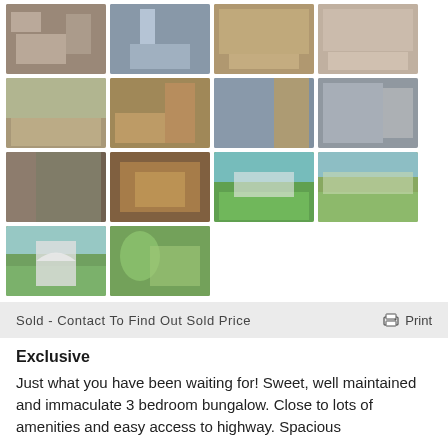[Figure (photo): Grid of 14 real estate property photos showing bathroom, bedroom, laundry, garage, exterior, deck, shed, and garden areas]
Sold - Contact To Find Out Sold Price
Print
Exclusive
Just what you have been waiting for! Sweet, well maintained and immaculate 3 bedroom bungalow. Close to lots of amenities and easy access to highway. Spacious